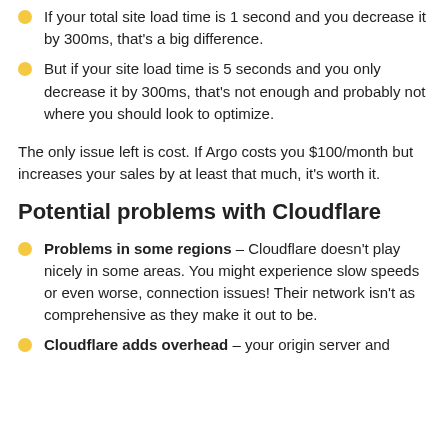If your total site load time is 1 second and you decrease it by 300ms, that's a big difference.
But if your site load time is 5 seconds and you only decrease it by 300ms, that's not enough and probably not where you should look to optimize.
The only issue left is cost. If Argo costs you $100/month but increases your sales by at least that much, it's worth it.
Potential problems with Cloudflare
Problems in some regions – Cloudflare doesn't play nicely in some areas. You might experience slow speeds or even worse, connection issues! Their network isn't as comprehensive as they make it out to be.
Cloudflare adds overhead – your origin server and